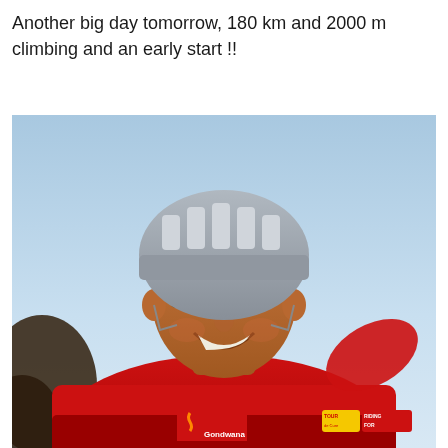Another big day tomorrow, 180 km and 2000 m climbing and an early start !!
[Figure (photo): A smiling male cyclist wearing a white helmet, sunglasses, and a red Gondwana jacket with 'Riding for Cure' and 'Tour' logos on it, photographed from below against a pale blue sky. He is raising his arms/hands in a celebratory gesture.]